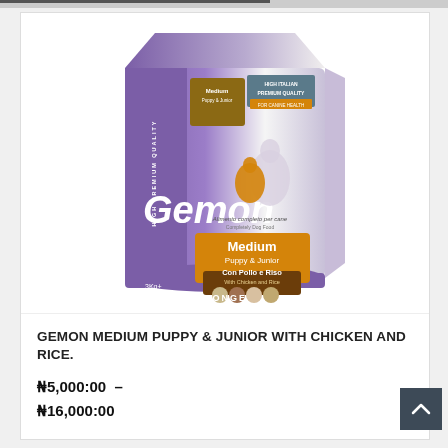[Figure (photo): Gemon Medium Puppy & Junior With Chicken and Rice dog food bag (3kg), purple and white packaging with orange accent, Monge brand, showing silhouette of dog on front]
GEMON MEDIUM PUPPY & JUNIOR WITH CHICKEN AND RICE.
₦5,000:00 – ₦16,000:00